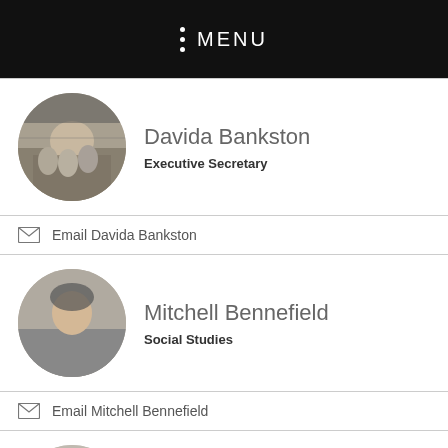MENU
Davida Bankston
Executive Secretary
Email Davida Bankston
Mitchell Bennefield
Social Studies
Email Mitchell Bennefield
Rita Booth
Building and Grounds